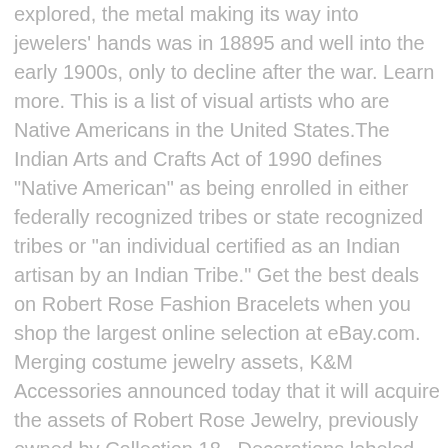explored, the metal making its way into jewelers' hands was in 18895 and well into the early 1900s, only to decline after the war. Learn more. This is a list of visual artists who are Native Americans in the United States.The Indian Arts and Crafts Act of 1990 defines "Native American" as being enrolled in either federally recognized tribes or state recognized tribes or "an individual certified as an Indian artisan by an Indian Tribe." Get the best deals on Robert Rose Fashion Bracelets when you shop the largest online selection at eBay.com. Merging costume jewelry assets, K&M Accessories announced today that it will acquire the assets of Robert Rose Jewelry, previously owned by Collection 18.. Decorations labeled Robert Rose – magnificent brooches and pendants, spectacular necklaces and bracelets, charming earrings and rings. From shop YasminGabrielleShop. Tickets are limited. The founder of Wallace Silversmiths, Robert Wallace was born in Prospect, Connecticut on November 13, 1815. Sustainable creativity is the future of luxury. From shop JewelryHills. FASHIONCRAFT JEWELRY COMPANY was founded in New York in